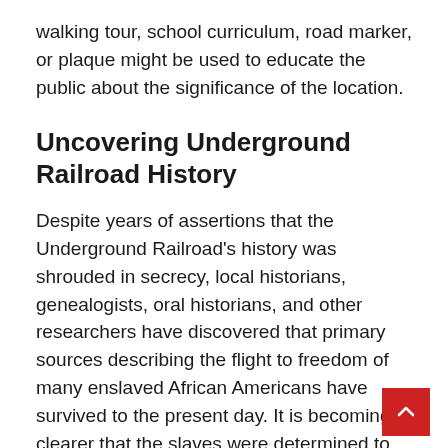walking tour, school curriculum, road marker, or plaque might be used to educate the public about the significance of the location.
Uncovering Underground Railroad History
Despite years of assertions that the Underground Railroad's history was shrouded in secrecy, local historians, genealogists, oral historians, and other researchers have discovered that primary sources describing the flight to freedom of many enslaved African Americans have survived to the present day. It is becoming clearer that the slaves were determined to